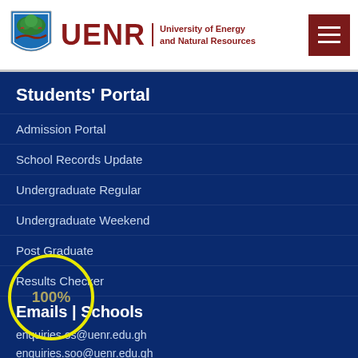[Figure (logo): UENR University of Energy and Natural Resources logo with shield emblem and hamburger menu button]
Students' Portal
Admission Portal
School Records Update
Undergraduate Regular
Undergraduate Weekend
Post Graduate
Results Checker
Emails | Schools
enquiries.os@uenr.edu.gh
enquiries.soo@uenr.edu.gh